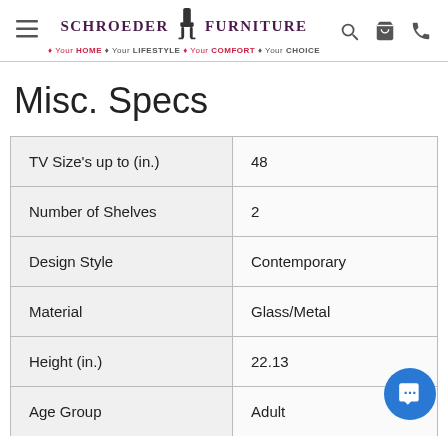Schroeder Furniture – Your HOME · Your LIFESTYLE · Your COMFORT · Your CHOICE
Misc. Specs
| Spec | Value |
| --- | --- |
| TV Size's up to (in.) | 48 |
| Number of Shelves | 2 |
| Design Style | Contemporary |
| Material | Glass/Metal |
| Height (in.) | 22.13 |
| Age Group | Adult |